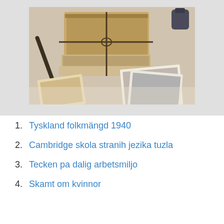[Figure (photo): Photo of old books tied with string, a fountain pen, old postcards and photographs on a table — vintage stationery items]
1. Tyskland folkmängd 1940
2. Cambridge skola stranih jezika tuzla
3. Tecken pa dalig arbetsmiljo
4. Skamt om kvinnor